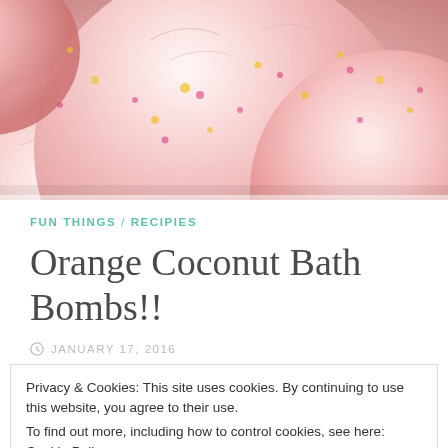[Figure (photo): Close-up photo of pink/white round bath bombs with yellow and pink speckles, filling the entire frame]
FUN THINGS / RECIPIES
Orange Coconut Bath Bombs!!
JANUARY 17, 2016
Privacy & Cookies: This site uses cookies. By continuing to use this website, you agree to their use.
To find out more, including how to control cookies, see here: Cookie Policy
Close and accept
and it's a good challenge to make your own! These